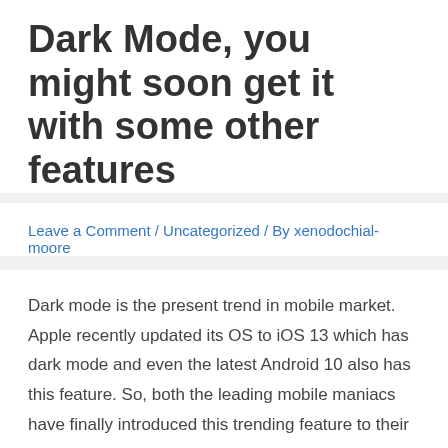Dark Mode, you might soon get it with some other features
Leave a Comment / Uncategorized / By xenodochial-moore
Dark mode is the present trend in mobile market. Apple recently updated its OS to iOS 13 which has dark mode and even the latest Android 10 also has this feature. So, both the leading mobile maniacs have finally introduced this trending feature to their devices. Facebook, Google Chrome, Twitter, Instagram, and LinkedIn also made …
Read More »
← Previous Page   1   2   3
Search …